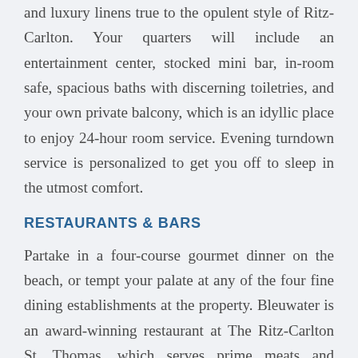and luxury linens true to the opulent style of Ritz-Carlton. Your quarters will include an entertainment center, stocked mini bar, in-room safe, spacious baths with discerning toiletries, and your own private balcony, which is an idyllic place to enjoy 24-hour room service. Evening turndown service is personalized to get you off to sleep in the utmost comfort.
RESTAURANTS & BARS
Partake in a four-course gourmet dinner on the beach, or tempt your palate at any of the four fine dining establishments at the property. Bleuwater is an award-winning restaurant at The Ritz-Carlton St. Thomas, which serves prime meats and traditional fare, while Coconut Cove is the perfect choice for those seeking authentic Caribbean Cuisine. Enjoy tropical cocktails at the poolside lounge